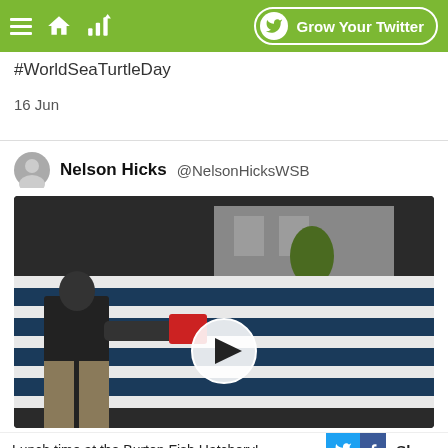Grow Your Twitter
#WorldSeaTurtleDay
16 Jun
Nelson Hicks @NelsonHicksWSB
[Figure (photo): Video thumbnail showing a person feeding fish at the Burton Fish Hatchery with a play button overlay]
Lunch time at the Burton Fish Hatchery! Share